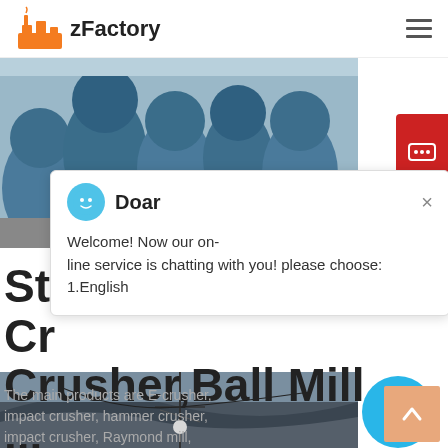zFactory
[Figure (photo): Two people standing in a factory with large blue industrial machinery (ball mills or crushers) in the background]
[Figure (screenshot): Chat popup dialog with Doar avatar, close button, and message: Welcome! Now our on-line service is chatting with you! please choose: 1.English]
St... Cr... Crusher,Ball Mill ...
The main products are E-crusher, impact crusher, hammer crusher, impact crusher, Raymond mill, magnetic separator, and other
[Figure (photo): Aerial or landscape photo of industrial outdoor facility with dark rooftop structures and utility poles]